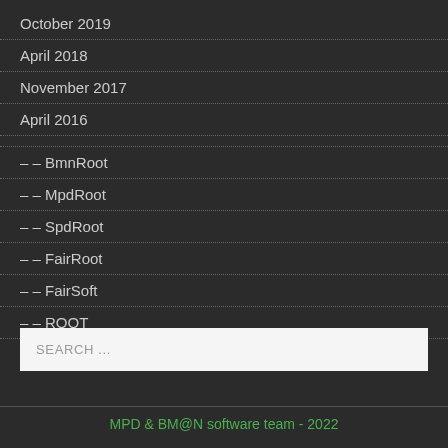October 2019
April 2018
November 2017
April 2016
– – BmnRoot
– – MpdRoot
– – SpdRoot
– – FairRoot
– – FairSoft
– – ROOT
SEARCH ...
MPD & BM@N software team - 2022